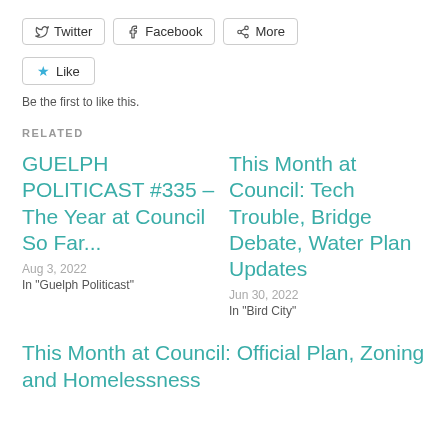[Figure (other): Social share buttons: Twitter, Facebook, More]
[Figure (other): Like button with star icon]
Be the first to like this.
RELATED
GUELPH POLITICAST #335 – The Year at Council So Far...
Aug 3, 2022
In "Guelph Politicast"
This Month at Council: Tech Trouble, Bridge Debate, Water Plan Updates
Jun 30, 2022
In "Bird City"
This Month at Council: Official Plan, Zoning and Homelessness